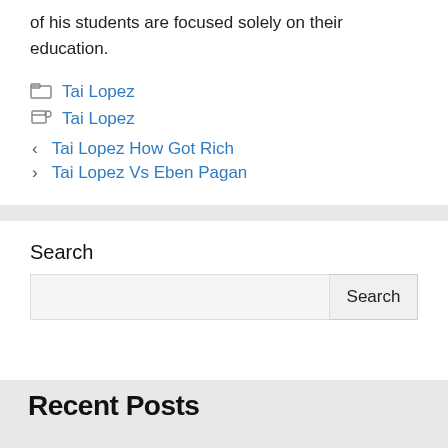of his students are focused solely on their education.
Tai Lopez (category)
Tai Lopez (tag)
< Tai Lopez How Got Rich
> Tai Lopez Vs Eben Pagan
Search
Recent Posts